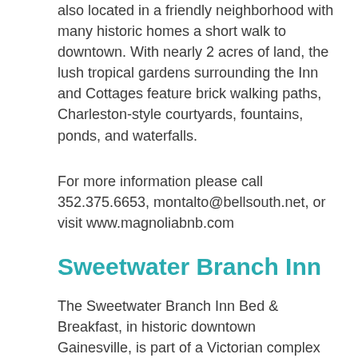also located in a friendly neighborhood with many historic homes a short walk to downtown. With nearly 2 acres of land, the lush tropical gardens surrounding the Inn and Cottages feature brick walking paths, Charleston-style courtyards, fountains, ponds, and waterfalls.
For more information please call 352.375.6653, montalto@bellsouth.net, or visit www.magnoliabnb.com
Sweetwater Branch Inn
The Sweetwater Branch Inn Bed & Breakfast, in historic downtown Gainesville, is part of a Victorian complex that offers all the amenities you'd expect in a world-class bed